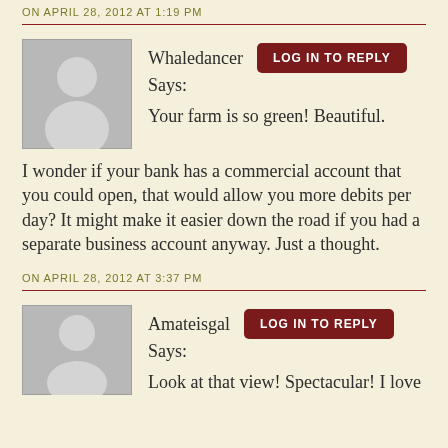ON APRIL 28, 2012 AT 1:19 PM
Whaledancer Says: Your farm is so green! Beautiful. I wonder if your bank has a commercial account that you could open, that would allow you more debits per day? It might make it easier down the road if you had a separate business account anyway. Just a thought.
ON APRIL 28, 2012 AT 3:37 PM
Amateisgal Says: Look at that view! Spectacular! I love